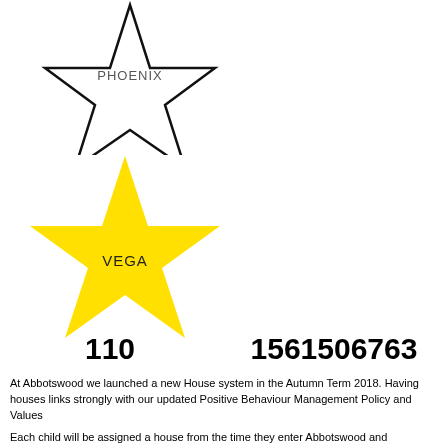[Figure (illustration): Outline (unfilled) five-pointed star with the label PHOENIX inside, drawn in black on white background]
[Figure (illustration): Solid yellow five-pointed star with the label VEGA in the center]
110        1561506763
At Abbotswood we launched a new House system in the Autumn Term 2018. Having houses links strongly with our updated Positive Behaviour Management Policy and Values
Each child will be assigned a house from the time they enter Abbotswood and